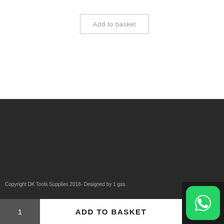Add to basket
Copyright DK Tools Supplies 2018- Designed by 1 gss.
1
ADD TO BASKET